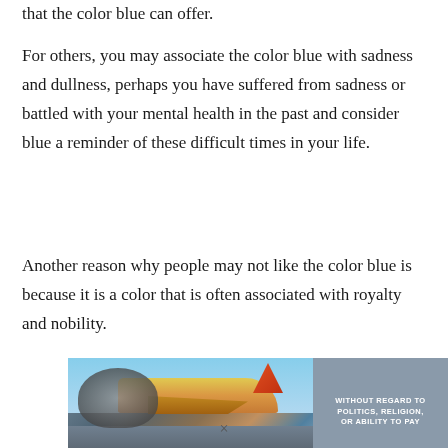that the color blue can offer.
For others, you may associate the color blue with sadness and dullness, perhaps you have suffered from sadness or battled with your mental health in the past and consider blue a reminder of these difficult times in your life.
Another reason why people may not like the color blue is because it is a color that is often associated with royalty and nobility.
[Figure (photo): Advertisement banner showing an airplane being loaded with cargo on a tarmac, with text overlay reading 'WITHOUT REGARD TO POLITICS, RELIGION, OR ABILITY TO PAY']
×